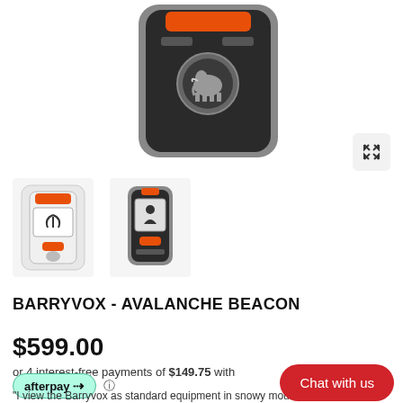[Figure (photo): Main product photo of Mammut Barryvox avalanche beacon, dark grey device with orange top, mammut logo visible, viewed from front at slight angle, cropped at top]
[Figure (photo): Thumbnail 1: Barryvox beacon in clear plastic case, showing front display with signal icon and orange button]
[Figure (photo): Thumbnail 2: Barryvox beacon standing upright, front view showing screen with person icon and orange button at bottom]
BARRYVOX - AVALANCHE BEACON
$599.00
or 4 interest-free payments of $149.75 with
afterpay  ⓘ
Chat with us
"I view the Barryvox as standard equipment in snowy mountains. It is